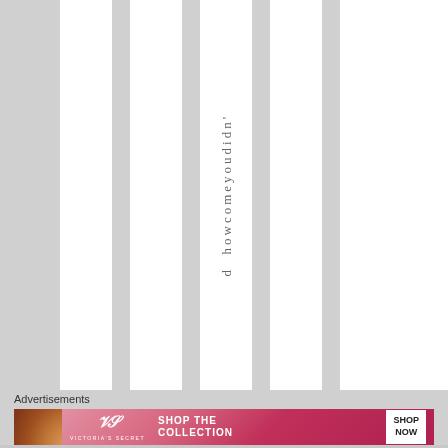[Figure (screenshot): Web page screenshot showing vertical rotated text 'd- howcomeyoudidn-' across multiple columns with alternating white and grey vertical column strips]
Advertisements
[Figure (screenshot): Victoria's Secret advertisement banner: 'SHOP THE COLLECTION' with 'SHOP NOW' button and model photo on pink/red gradient background]